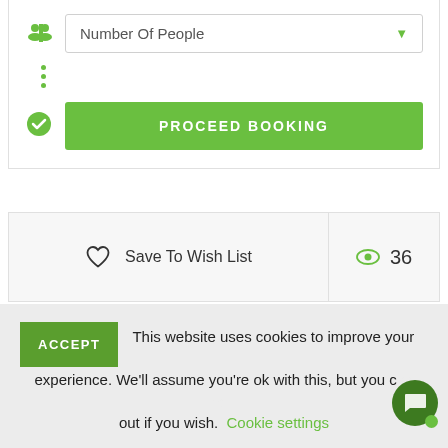[Figure (screenshot): Dropdown selector labeled 'Number Of People' with green arrow, green people icon on left]
[Figure (screenshot): Green 'PROCEED BOOKING' button with green checkmark circle icon on left]
Save To Wish List
36
ACCEPT  This website uses cookies to improve your experience. We'll assume you're ok with this, but you can opt-out if you wish. Cookie settings